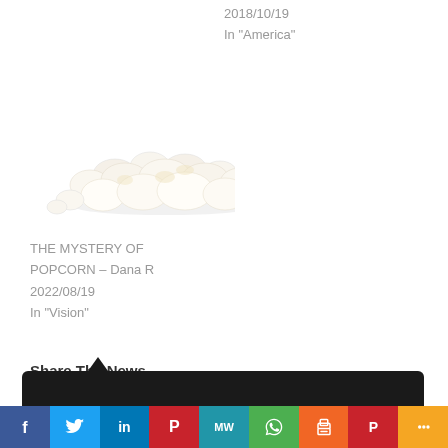2018/10/19
In "America"
[Figure (photo): Pile of white popcorn on white background]
THE MYSTERY OF POPCORN – Dana R
2022/08/19
In "Vision"
Share The News
[Figure (infographic): Social share buttons: Facebook (167), Twitter, Reddit, LinkedIn, Pinterest (1), Print, Share More]
[Figure (infographic): Bottom floating social share bar: Facebook, Twitter, LinkedIn, Pinterest, MW, WhatsApp, Print, Parler, Share]